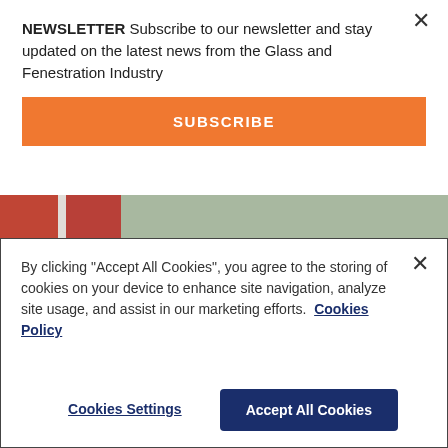NEWSLETTER Subscribe to our newsletter and stay updated on the latest news from the Glass and Fenestration Industry
SUBSCRIBE
[Figure (photo): Parking lot and road area next to a large industrial building with red/orange facade and green grass areas. Several cars are parked and a curved road is visible.]
Tianjin NorthGlass won the single champion in manufacturing industry
By clicking "Accept All Cookies", you agree to the storing of cookies on your device to enhance site navigation, analyze site usage, and assist in our marketing efforts.  Cookies Policy
Cookies Settings
Accept All Cookies